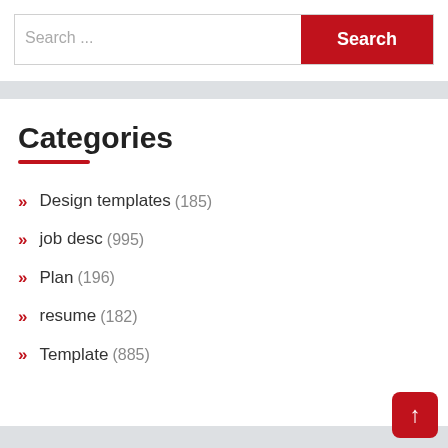[Figure (screenshot): Search bar with text input placeholder 'Search ...' and a red 'Search' button]
Categories
Design templates (185)
job desc (995)
Plan (196)
resume (182)
Template (885)